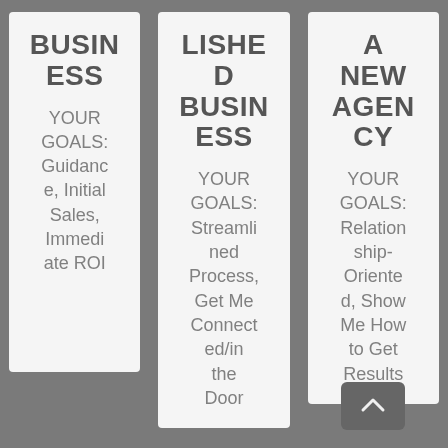BUSINESS
YOUR GOALS: Guidance, Initial Sales, Immediate ROI
LISHED BUSINESS
YOUR GOALS: Streamlined Process, Get Me Connected/in the Door
A NEW AGENCY
YOUR GOALS: Relationship-Oriented, Show Me How to Get Results